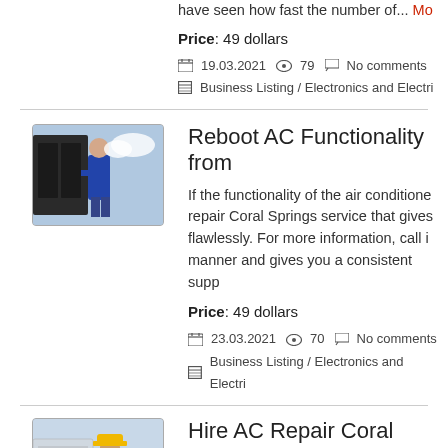have seen how fast the number of... Mo
Price: 49 dollars
19.03.2021  79  No comments  Business Listing / Electronics and Electri
Reboot AC Functionality from
[Figure (photo): AC technician working on HVAC unit]
If the functionality of the air conditione repair Coral Springs service that gives flawlessly. For more information, call i manner and gives you a consistent supp
Price: 49 dollars
23.03.2021  70  No comments  Business Listing / Electronics and Electri
Hire AC Repair Coral Springs
[Figure (photo): Worker in hard hat inspecting AC unit]
No matter how serious the issue is with Repair Coral Springs are capable of res revive your old machine, just make a ca comprehensive unit that gives you all y